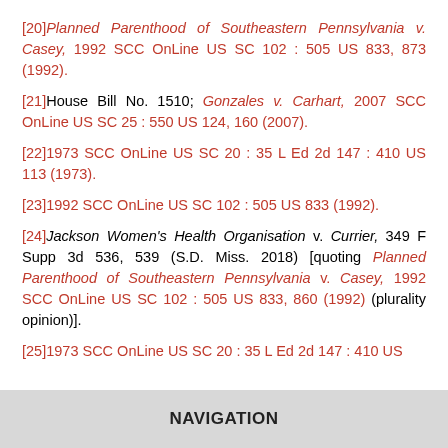[20] Planned Parenthood of Southeastern Pennsylvania v. Casey, 1992 SCC OnLine US SC 102 : 505 US 833, 873 (1992).
[21] House Bill No. 1510; Gonzales v. Carhart, 2007 SCC OnLine US SC 25 : 550 US 124, 160 (2007).
[22] 1973 SCC OnLine US SC 20 : 35 L Ed 2d 147 : 410 US 113 (1973).
[23] 1992 SCC OnLine US SC 102 : 505 US 833 (1992).
[24] Jackson Women's Health Organisation v. Currier, 349 F Supp 3d 536, 539 (S.D. Miss. 2018) [quoting Planned Parenthood of Southeastern Pennsylvania v. Casey, 1992 SCC OnLine US SC 102 : 505 US 833, 860 (1992) (plurality opinion)].
[25] 1973 SCC OnLine US SC 20 : 35 L Ed 2d 147 : 410 US
NAVIGATION